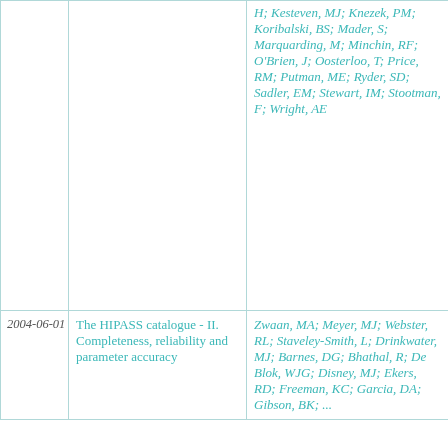| Date | Title | Authors |
| --- | --- | --- |
|  |  | H; Kesteven, MJ; Knezek, PM; Koribalski, BS; Mader, S; Marquarding, M; Minchin, RF; O'Brien, J; Oosterloo, T; Price, RM; Putman, ME; Ryder, SD; Sadler, EM; Stewart, IM; Stootman, F; Wright, AE |
| 2004-06-01 | The HIPASS catalogue - II. Completeness, reliability and parameter accuracy | Zwaan, MA; Meyer, MJ; Webster, RL; Staveley-Smith, L; Drinkwater, MJ; Barnes, DG; Bhathal, R; De Blok, WJG; Disney, MJ; Ekers, RD; Freeman, KC; Garcia, DA; Gibson, BK; ... |